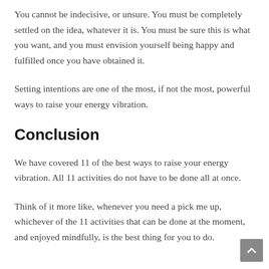You must put it out there, then develop a mindset like you already have it. That is the basis of the Law of Attraction.
You cannot be indecisive, or unsure. You must be completely settled on the idea, whatever it is. You must be sure this is what you want, and you must envision yourself being happy and fulfilled once you have obtained it.
Setting intentions are one of the most, if not the most, powerful ways to raise your energy vibration.
Conclusion
We have covered 11 of the best ways to raise your energy vibration. All 11 activities do not have to be done all at once.
Think of it more like, whenever you need a pick me up, whichever of the 11 activities that can be done at the moment, and enjoyed mindfully, is the best thing for you to do.